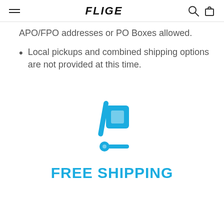FLIGE
APO/FPO addresses or PO Boxes allowed.
Local pickups and combined shipping options are not provided at this time.
[Figure (illustration): Blue shopping cart / dolly icon with a package box on it]
FREE SHIPPING